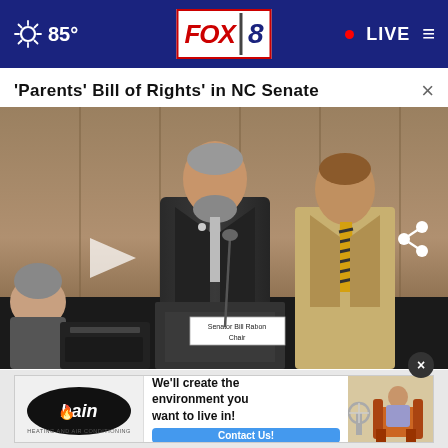85° FOX 8 • LIVE
'Parents' Bill of Rights' in NC Senate
[Figure (screenshot): Video still of Senator Bill Rabon, Chair, speaking at a podium in a senate hearing room, with another official standing behind him. A name placard reads 'Senator Bill Rabon Chair'. Two other individuals are partially visible. A play button overlay is visible on the left side.]
[Figure (screenshot): Bain Heating and Air Conditioning advertisement: 'We'll create the environment you want to live in! Contact Us!' with Bain logo and an image of a person relaxing in a chair with a fan.]